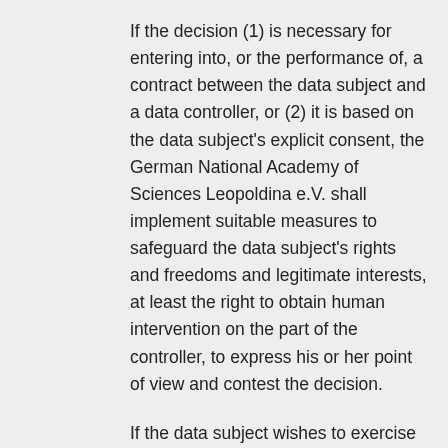If the decision (1) is necessary for entering into, or the performance of, a contract between the data subject and a data controller, or (2) it is based on the data subject's explicit consent, the German National Academy of Sciences Leopoldina e.V. shall implement suitable measures to safeguard the data subject's rights and freedoms and legitimate interests, at least the right to obtain human intervention on the part of the controller, to express his or her point of view and contest the decision.
If the data subject wishes to exercise the right to ...